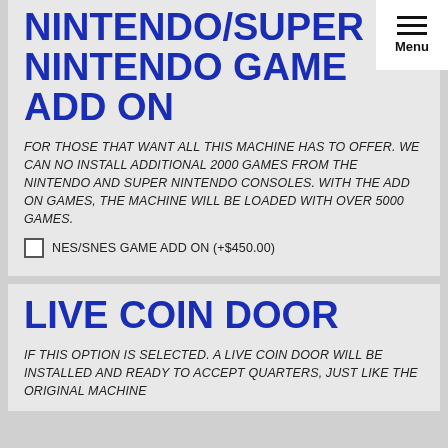NINTENDO/SUPER NINTENDO GAME ADD ON
FOR THOSE THAT WANT ALL THIS MACHINE HAS TO OFFER. WE CAN NO INSTALL ADDITIONAL 2000 GAMES FROM THE NINTENDO AND SUPER NINTENDO CONSOLES. WITH THE ADD ON GAMES, THE MACHINE WILL BE LOADED WITH OVER 5000 GAMES.
NES/SNES GAME ADD ON (+$450.00)
LIVE COIN DOOR
IF THIS OPTION IS SELECTED. A LIVE COIN DOOR WILL BE INSTALLED AND READY TO ACCEPT QUARTERS, JUST LIKE THE ORIGINAL MACHINE